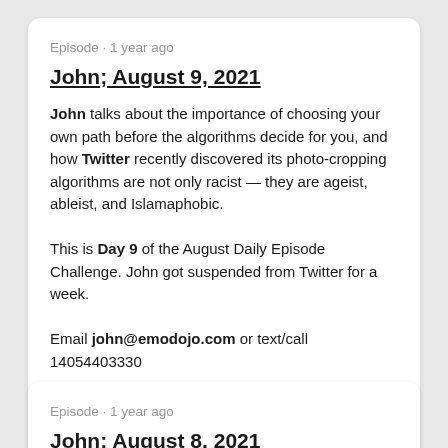Episode · 1 year ago
John; August 9, 2021
John talks about the importance of choosing your own path before the algorithms decide for you, and how Twitter recently discovered its photo-cropping algorithms are not only racist — they are ageist, ableist, and Islamaphobic.

This is Day 9 of the August Daily Episode Challenge. John got suspended from Twitter for a week.

Email john@emodojo.com or text/call 14054403330
[Figure (other): Play button circle and LISTEN NOW label with share icon]
Episode · 1 year ago
John; August 8, 2021